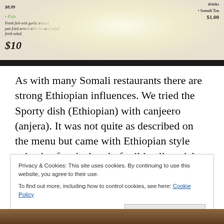[Figure (photo): Photo of a restaurant menu showing items including Fish with description and price $10, and Somali Tea $1.00, with a strong glare/reflection on the menu surface]
As with many Somali restaurants there are strong Ethiopian influences. We tried the Sporty dish (Ethiopian) with canjeero (anjera). It was not quite as described on the menu but came with Ethiopian style spicy beef and a bowl of mild yellow dal. $18 perhaps seemed a little steep for
Privacy & Cookies: This site uses cookies. By continuing to use this website, you agree to their use.
To find out more, including how to control cookies, see here: Cookie Policy
[Figure (photo): Partial photo of food at bottom of page]